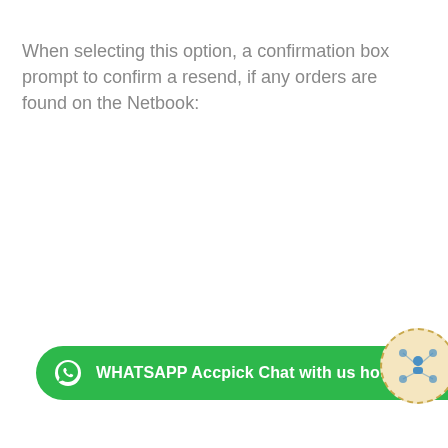When selecting this option, a confirmation box prompt to confirm a resend, if any orders are found on the Netbook:
[Figure (screenshot): WhatsApp chat bar at the bottom with green background reading 'WHATSAPP Accpick Chat with us hours GMT 0am-' and a network/people icon bubble on the right]